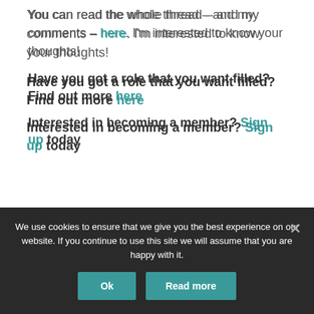You can read the whole thread – and my comments – here. I'm interested to know your thoughts!
Have you got a role that you want filled? Find out more here
Interested in becoming a member? Sign up today
We use cookies to ensure that we give you the best experience on our website. If you continue to use this site we will assume that you are happy with it.